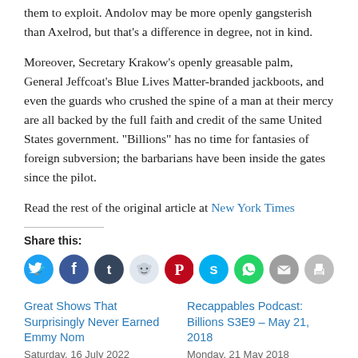them to exploit. Andolov may be more openly gangsterish than Axelrod, but that’s a difference in degree, not in kind.
Moreover, Secretary Krakow’s openly greasable palm, General Jeffcoat’s Blue Lives Matter-branded jackboots, and even the guards who crushed the spine of a man at their mercy are all backed by the full faith and credit of the same United States government. “Billions” has no time for fantasies of foreign subversion; the barbarians have been inside the gates since the pilot.
Read the rest of the original article at New York Times
Share this:
[Figure (infographic): Row of social media sharing icon circles: Twitter (blue), Facebook (dark blue), Tumblr (navy), Reddit (light blue-gray), Pinterest (red), Skype (blue), WhatsApp (green), Email (gray), Print (gray)]
Great Shows That Surprisingly Never Earned Emmy Nom
Saturday, 16 July 2022
In “Billions”
Recappables Podcast: Billions S3E9 – May 21, 2018
Monday, 21 May 2018
In “Audio”